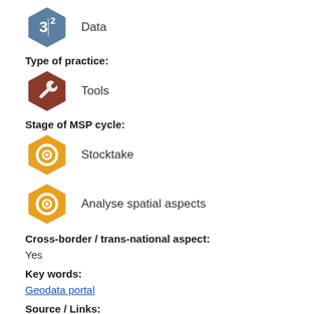[Figure (illustration): Hexagon icon with number 3 and superscript 2, steel blue color, labeled 'Data']
Data
Type of practice:
[Figure (illustration): Hexagon icon with wrench symbol, dark red/brown color, labeled 'Tools']
Tools
Stage of MSP cycle:
[Figure (illustration): Hexagon icon with circular eye/target symbol, orange color, labeled 'Stocktake']
Stocktake
[Figure (illustration): Hexagon icon with circular eye/target symbol, orange color, labeled 'Analyse spatial aspects']
Analyse spatial aspects
Cross-border / trans-national aspect:
Yes
Key words:
Geodata portal
Source / Links: